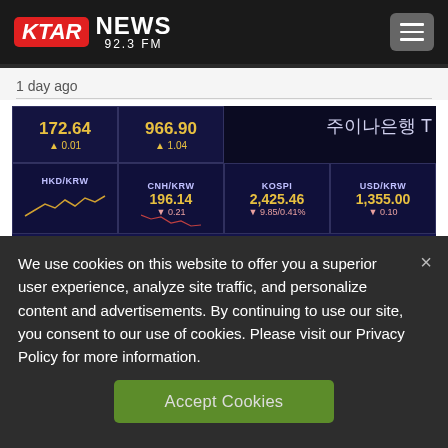[Figure (logo): KTAR News 92.3 FM logo with hamburger menu icon on dark header]
1 day ago
[Figure (photo): Stock market trading screen showing currency exchange rates: 172.64 +0.01, 966.90 +1.04, HKD/KRW, CNH/KRW 196.14, KOSPI 2,425.46, USD/KRW 1,355.00 with Korean bank signage]
We use cookies on this website to offer you a superior user experience, analyze site traffic, and personalize content and advertisements. By continuing to use our site, you consent to our use of cookies. Please visit our Privacy Policy for more information.
Accept Cookies